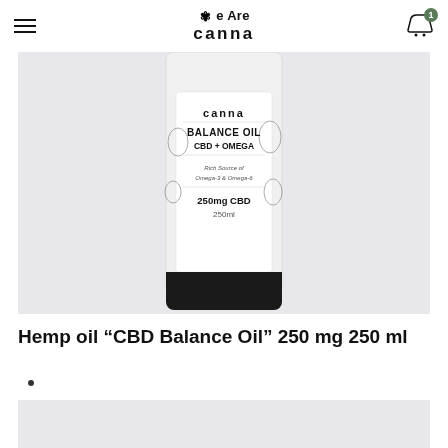We Are Canna — navigation header with hamburger menu and cart icon (badge: 1)
[Figure (photo): Product photo of a bottle of CBD Balance Oil 250mg 250ml by Canna, showing the label with 'BALANCE OIL CBD + OMEGA', 'Rich Source of Omega-3 & Omega-6', '250mg CBD 250ml' on a light grey background]
Hemp oil “CBD Balance Oil” 250 mg 250 ml
•
[Figure (photo): Partial bottom image strip, appears to be another product or background image, light grey]